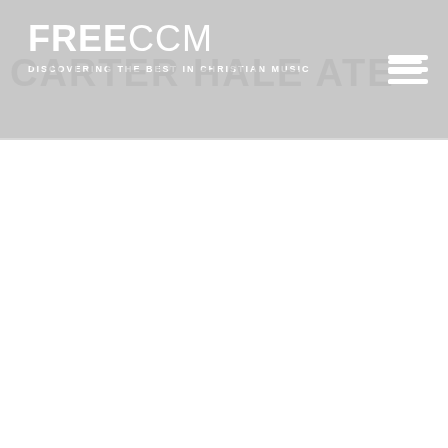FREECCM — DISCOVERING THE BEST IN CHRISTIAN MUSIC
[Figure (other): Hamburger menu icon (three horizontal white lines) in top right of header]